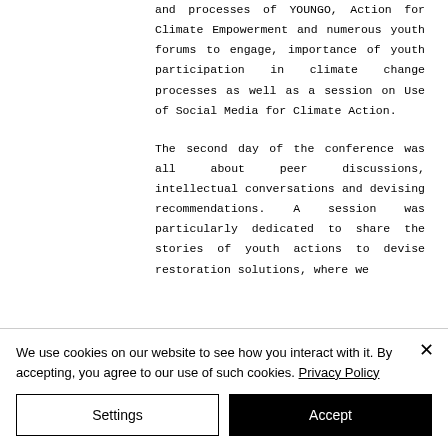and processes of YOUNGO, Action for Climate Empowerment and numerous youth forums to engage, importance of youth participation in climate change processes as well as a session on Use of Social Media for Climate Action.
The second day of the conference was all about peer discussions, intellectual conversations and devising recommendations. A session was particularly dedicated to share the stories of youth actions to devise restoration solutions, where we selected the best ones to feature in our next from...
We use cookies on our website to see how you interact with it. By accepting, you agree to our use of such cookies. Privacy Policy